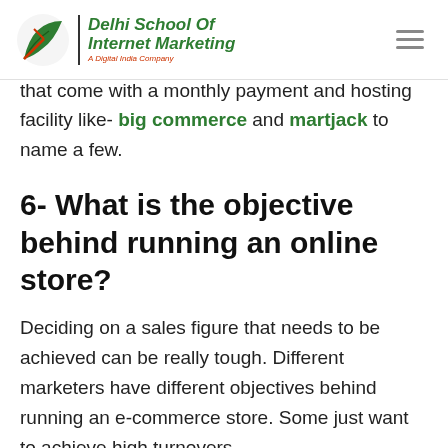Delhi School Of Internet Marketing
that come with a monthly payment and hosting facility like- big commerce and martjack to name a few.
6- What is the objective behind running an online store?
Deciding on a sales figure that needs to be achieved can be really tough. Different marketers have different objectives behind running an e-commerce store. Some just want to achieve high turnovers